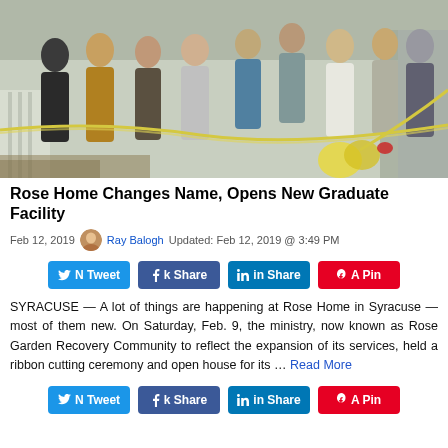[Figure (photo): Group of people standing outdoors holding a yellow ribbon at a ribbon cutting ceremony in front of a building.]
Rose Home Changes Name, Opens New Graduate Facility
Feb 12, 2019  Ray Balogh Updated: Feb 12, 2019 @ 3:49 PM
[Figure (infographic): Social share buttons: Tweet, Share (Facebook), Share (LinkedIn), Pin (Pinterest)]
SYRACUSE — A lot of things are happening at Rose Home in Syracuse — most of them new. On Saturday, Feb. 9, the ministry, now known as Rose Garden Recovery Community to reflect the expansion of its services, held a ribbon cutting ceremony and open house for its … Read More
[Figure (infographic): Social share buttons: Tweet, Share (Facebook), Share (LinkedIn), Pin (Pinterest)]